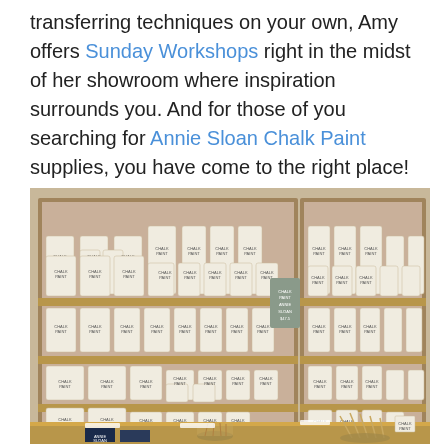transferring techniques on your own, Amy offers Sunday Workshops right in the midst of her showroom where inspiration surrounds you. And for those of you searching for Annie Sloan Chalk Paint supplies, you have come to the right place!
[Figure (photo): Interior shot of a shop shelving unit filled with rows of Annie Sloan Chalk Paint cans in white and cream colored tins, arranged on wooden shelves with labels visible. A counter in the foreground holds brushes, books, and small accessories.]